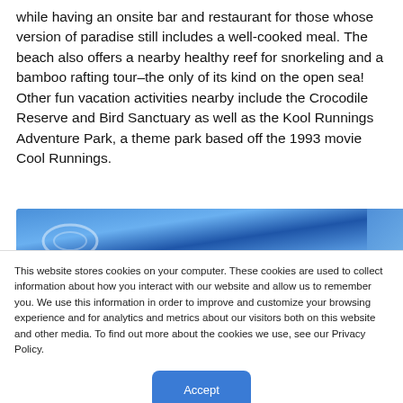while having an onsite bar and restaurant for those whose version of paradise still includes a well-cooked meal. The beach also offers a nearby healthy reef for snorkeling and a bamboo rafting tour–the only of its kind on the open sea! Other fun vacation activities nearby include the Crocodile Reserve and Bird Sanctuary as well as the Kool Runnings Adventure Park, a theme park based off the 1993 movie Cool Runnings.
[Figure (photo): Partial view of a blue-toned beach or water scene, cropped at the bottom of the visible text area.]
This website stores cookies on your computer. These cookies are used to collect information about how you interact with our website and allow us to remember you. We use this information in order to improve and customize your browsing experience and for analytics and metrics about our visitors both on this website and other media. To find out more about the cookies we use, see our Privacy Policy.